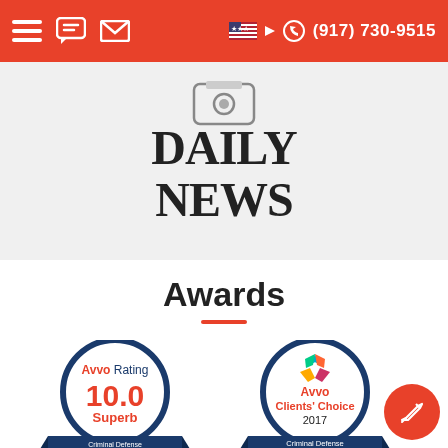(917) 730-9515
[Figure (logo): Daily News newspaper logo with camera icon above bold serif text reading DAILY NEWS on gray background]
Awards
[Figure (infographic): Avvo Rating 10.0 Superb badge - circular navy blue badge with orange '10.0' rating and 'Superb' text, ribbon below reading 'Top Attorney Criminal Defense']
[Figure (infographic): Avvo Clients' Choice 2017 badge - circular white badge with Avvo star logo, orange 'Clients' Choice' text, '2017' below, ribbon reading 'Criminal Defense']